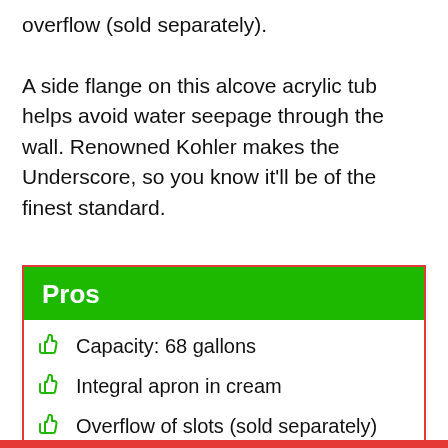overflow (sold separately).

A side flange on this alcove acrylic tub helps avoid water seepage through the wall. Renowned Kohler makes the Underscore, so you know it'll be of the finest standard.
Pros
Capacity: 68 gallons
Integral apron in cream
Overflow of slots (sold separately)
Leaks are prevented by the flange.